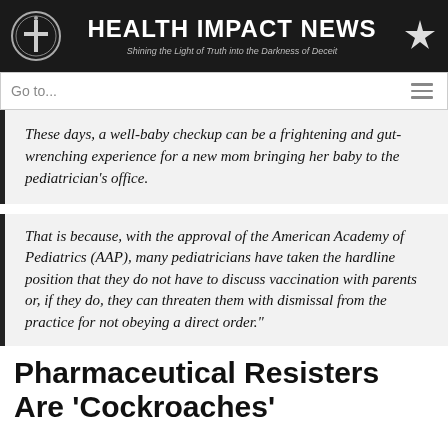HEALTH IMPACT NEWS — Shining the Light of Truth into the Darkness of Deceit
Go to...
These days, a well-baby checkup can be a frightening and gut-wrenching experience for a new mom bringing her baby to the pediatrician's office.
That is because, with the approval of the American Academy of Pediatrics (AAP), many pediatricians have taken the hardline position that they do not have to discuss vaccination with parents or, if they do, they can threaten them with dismissal from the practice for not obeying a direct order."
Pharmaceutical Resisters Are 'Cockroaches'